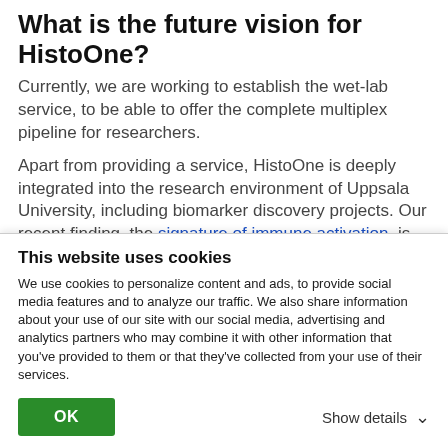What is the future vision for HistoOne?
Currently, we are working to establish the wet-lab service, to be able to offer the complete multiplex pipeline for researchers.
Apart from providing a service, HistoOne is deeply integrated into the research environment of Uppsala University, including biomarker discovery projects. Our recent finding, the signature of immune activation, is capable of predicting survival better than the
This website uses cookies
We use cookies to personalize content and ads, to provide social media features and to analyze our traffic. We also share information about your use of our site with our social media, advertising and analytics partners who may combine it with other information that you've provided to them or that they've collected from your use of their services.